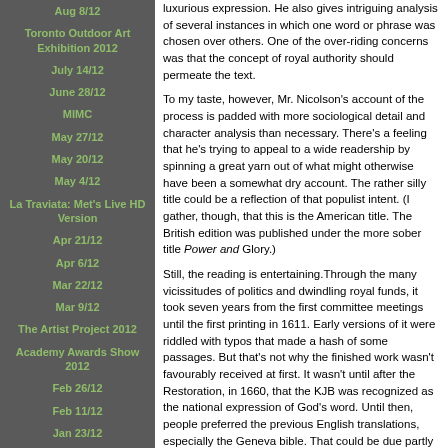Aug 8/12
Toronto Outdoor Art Exhibition 2012
July 14/12
June 28/12
MIMC
May 27/12
May 20/12
May 4/12
La Traviata: Met's Live HD Version
Apr 21/12
Apr 6/12
Mar 22/12
Mar 9/12
The Artist Project 2012
Academy Awards Show 2012
Feb 26/12
Feb 11/12
Jan 23/12
luxurious expression. He also gives intriguing analysis of several instances in which one word or phrase was chosen over others. One of the over-riding concerns was that the concept of royal authority should permeate the text.
To my taste, however, Mr. Nicolson's account of the process is padded with more sociological detail and character analysis than necessary. There's a feeling that he's trying to appeal to a wide readership by spinning a great yarn out of what might otherwise have been a somewhat dry account. The rather silly title could be a reflection of that populist intent. (I gather, though, that this is the American title. The British edition was published under the more sober title Power and Glory.)
Still, the reading is entertaining.Through the many vicissitudes of politics and dwindling royal funds, it took seven years from the first committee meetings until the first printing in 1611. Early versions of it were riddled with typos that made a hash of some passages. But that's not why the finished work wasn't favourably received at first. It wasn't until after the Restoration, in 1660, that the KJB was recognized as the national expression of God's word. Until then, people preferred the previous English translations, especially the Geneva bible. That could be due partly to the fact that the KJB